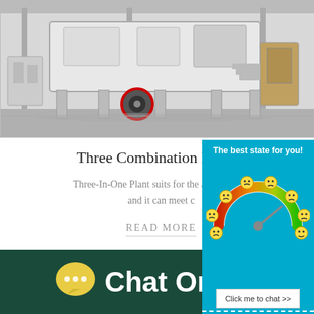[Figure (photo): Industrial machinery — a large white mobile crushing/screening plant on metal frame supports inside a factory warehouse, with a red-circled wheel visible.]
Three Combination Mobile
Three-In-One Plant suits for the alterable wo and it can meet c
READ MORE
[Figure (infographic): Chat widget with teal background showing 'The best state for you!' header, a speedometer/gauge graphic with emoji faces ranging from angry (red) to happy (green), a 'Click me to chat >>' button, and an 'Enquiry' label at the bottom.]
Chat Online